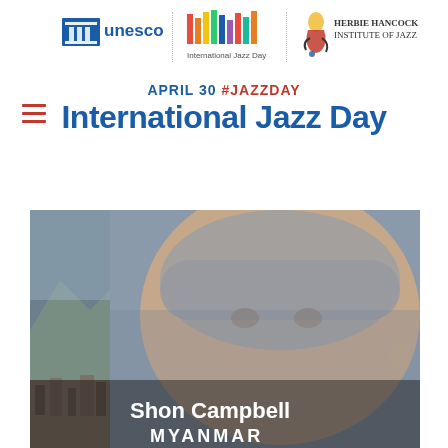[Figure (logo): UNESCO logo with building icon and blue text]
[Figure (logo): International Jazz Day logo with colorful vertical bars]
[Figure (logo): Herbie Hancock Institute of Jazz logo with jazz figure illustration]
APRIL 30 #JAZZDAY International Jazz Day
[Figure (photo): Photo of Shon Campbell from Myanmar, a woman with short gray hair against a landscape background with mountains and city]
Shon Campbell
MYANMAR